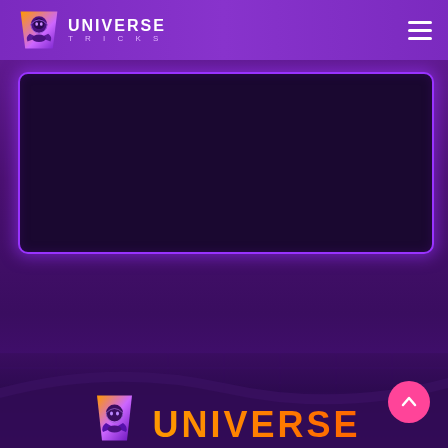[Figure (logo): Universe Tricks logo with purple hooded character mascot and stylized text]
[Figure (screenshot): Dark purple content/advertisement box with glowing purple neon border on purple gradient background]
[Figure (logo): Universe Tricks footer logo with purple mascot icon and bold orange/gold UNIVERSE text, pink scroll-to-top button]